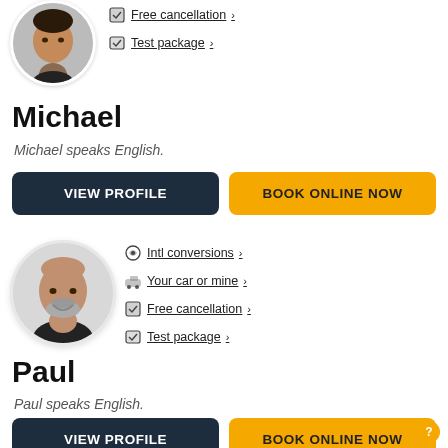[Figure (photo): Circular profile photo of Michael, a man wearing dark clothing, partially cropped at top]
Free cancellation ›
Test package ›
Michael
Michael speaks English.
VIEW PROFILE
BOOK ONLINE NOW
[Figure (photo): Circular profile photo of Paul, a bald man with a beard smiling, wearing dark clothing]
Intl conversions ›
Your car or mine ›
Free cancellation ›
Test package ›
Paul
Paul speaks English.
VIEW PROFILE
BOOK ONLINE NOW